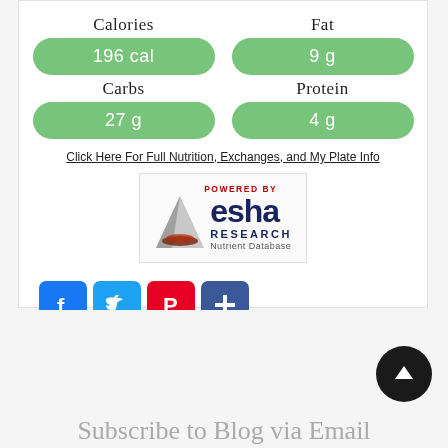Calories
196 cal
Fat
9 g
Carbs
27 g
Protein
4 g
Click Here For Full Nutrition, Exchanges, and My Plate Info
[Figure (logo): POWERED BY esha RESEARCH Nutrient Database logo with triangle graphic]
[Figure (infographic): Social share buttons: Facebook (blue f), Twitter (blue bird), Pinterest (red P), Share (blue +)]
Subscribe to Blog via Email